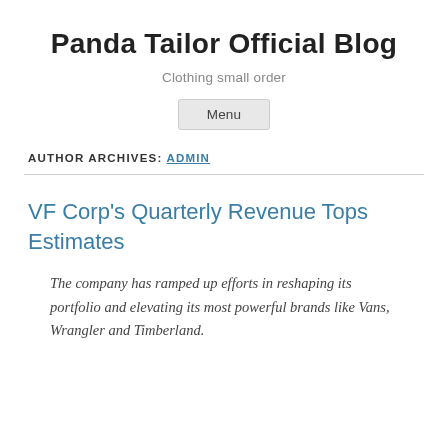Panda Tailor Official Blog
Clothing small order
Menu
AUTHOR ARCHIVES: ADMIN
VF Corp's Quarterly Revenue Tops Estimates
The company has ramped up efforts in reshaping its portfolio and elevating its most powerful brands like Vans, Wrangler and Timberland.